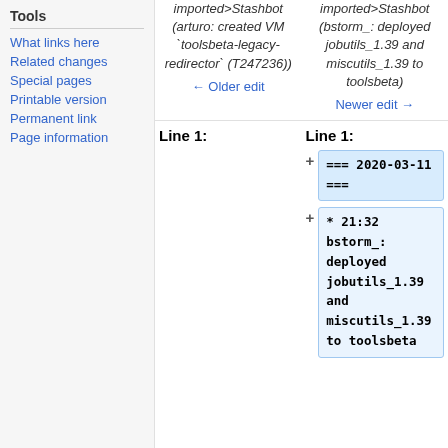Tools
What links here
Related changes
Special pages
Printable version
Permanent link
Page information
imported>Stashbot (arturo: created VM `toolsbeta-legacy-redirector` (T247236))
imported>Stashbot (bstorm_: deployed jobutils_1.39 and miscutils_1.39 to toolsbeta)
← Older edit
Newer edit →
Line 1:
Line 1:
=== 2020-03-11 ===
* 21:32 bstorm_: deployed jobutils_1.39 and miscutils_1.39 to toolsbeta